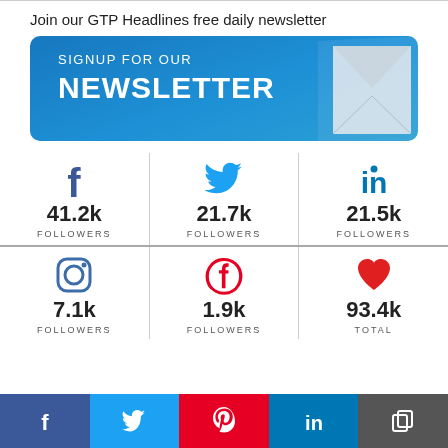Join our GTP Headlines free daily newsletter
[Figure (infographic): Blue rounded banner button with text SIGNUP FOR OUR NEWSLETTER and an envelope graphic]
[Figure (infographic): Social media follower counts: Facebook 41.2k, Twitter 21.7k, LinkedIn 21.5k, Instagram 7.1k, Pinterest 1.9k, Total 93.4k]
[Figure (infographic): Bottom navigation bar with Facebook, Twitter, Pinterest, LinkedIn, and copy icons]